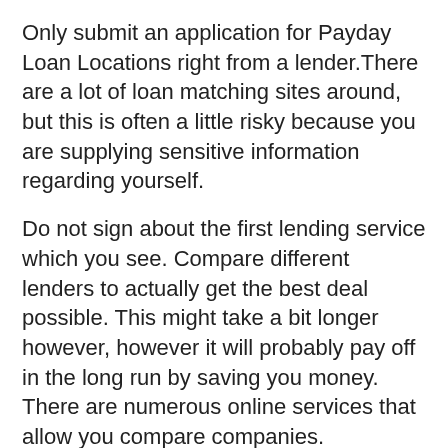Only submit an application for Payday Loan Locations right from a lender.There are a lot of loan matching sites around, but this is often a little risky because you are supplying sensitive information regarding yourself.
Do not sign about the first lending service which you see. Compare different lenders to actually get the best deal possible. This might take a bit longer however, however it will probably pay off in the long run by saving you money. There are numerous online services that allow you compare companies.
If you are near a state line and loans will not be available locally, you can seek out the nearest state line. It is possible to sometimes simply cross their state line and acquire one there. This could just need one trip because the fact that they can recover their funds electronically.
Only go with a lender offering Payday Loan Locations if they